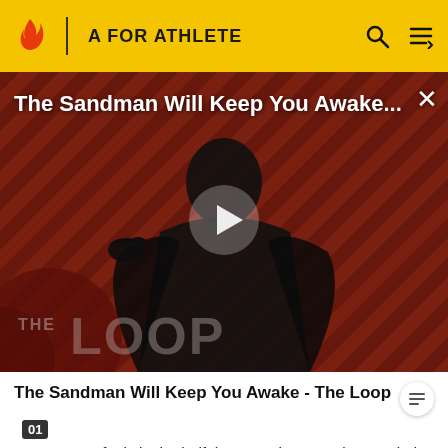A FOR ATHLETE
[Figure (screenshot): Video thumbnail showing a dark-costumed figure against a diagonal striped red/brown background. THE LOOP watermark at bottom left. Title overlay reads 'The Sandman Will Keep You Awake...' with a play button in the center and a close X button top right.]
The Sandman Will Keep You Awake - The Loop
surpasses 7 fouls in the half the opposing team is awarded a one-and-one free throw (make the first you have a chance at a second). If a team surpasses 10 fouls in the half the opposing team is awarded two free throws